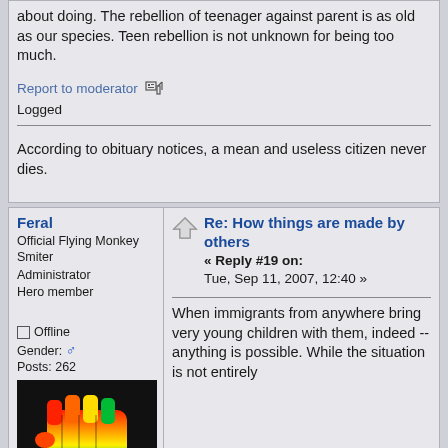about doing. The rebellion of teenager against parent is as old as our species. Teen rebellion is not unknown for being too much.
Report to moderator   Logged
According to obituary notices, a mean and useless citizen never dies.
Feral
Official Flying Monkey Smiter
Administrator
Hero member
☆☆☆☆☆
Offline
Gender: ♂
Posts: 262
Re: How things are made by others
« Reply #19 on: Tue, Sep 11, 2007, 12:40 »
When immigrants from anywhere bring very young children with them, indeed -- anything is possible. While the situation is not entirely